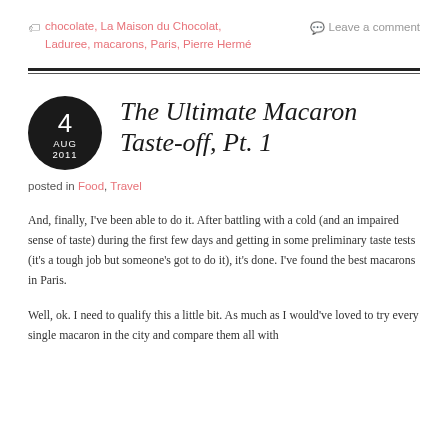chocolate, La Maison du Chocolat, Laduree, macarons, Paris, Pierre Hermé
Leave a comment
The Ultimate Macaron Taste-off, Pt. 1
posted in Food, Travel
And, finally, I've been able to do it. After battling with a cold (and an impaired sense of taste) during the first few days and getting in some preliminary taste tests (it's a tough job but someone's got to do it), it's done. I've found the best macarons in Paris.
Well, ok. I need to qualify this a little bit. As much as I would've loved to try every single macaron in the city and compare them all with